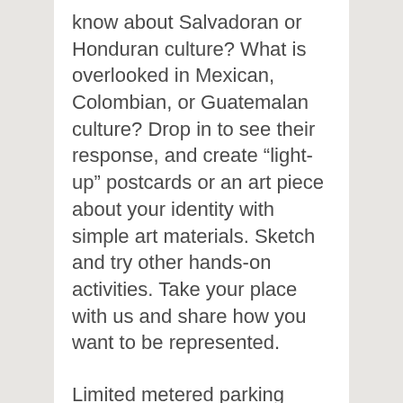know about Salvadoran or Honduran culture? What is overlooked in Mexican, Colombian, or Guatemalan culture? Drop in to see their response, and create “light-up” postcards or an art piece about your identity with simple art materials. Sketch and try other hands-on activities. Take your place with us and share how you want to be represented.
Limited metered parking available on Oxford Street or…
Harvard Art Museums: